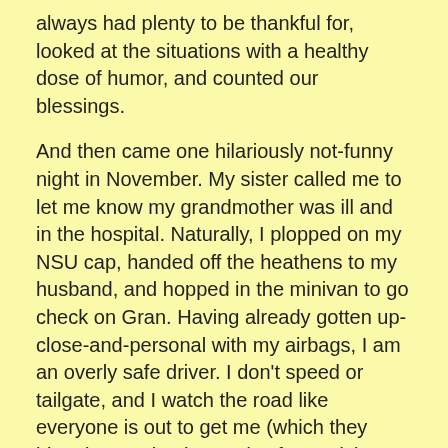always had plenty to be thankful for, looked at the situations with a healthy dose of humor, and counted our blessings.
And then came one hilariously not-funny night in November. My sister called me to let me know my grandmother was ill and in the hospital. Naturally, I plopped on my NSU cap, handed off the heathens to my husband, and hopped in the minivan to go check on Gran. Having already gotten up-close-and-personal with my airbags, I am an overly safe driver. I don't speed or tailgate, and I watch the road like everyone is out to get me (which they bleeping are by the way). After cruising along the two-lane highways, I made it to town and things were a-okay. Then, less than ½ a mile from my previous accident, I saw a flash of metal, a trailer full of cars and had just enough time to jerk the wheel and think, “Oh Sh*t, this is bad.” My minivan broadsided a trailer hauling cars at about 45